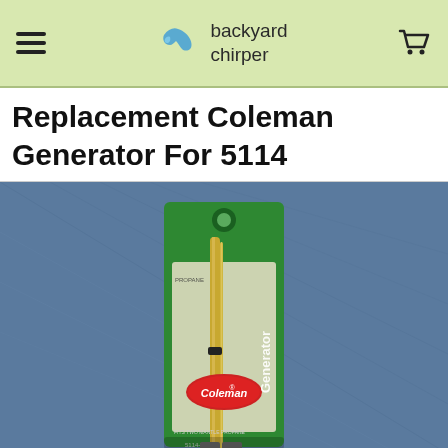backyard chirper
Replacement Coleman Generator For 5114
[Figure (photo): Photo of a Coleman replacement generator part (model 5114-5891) in its original green retail packaging, displayed against a blue denim-like fabric background. The package shows the brass/gold-colored generator tube and Coleman branding.]